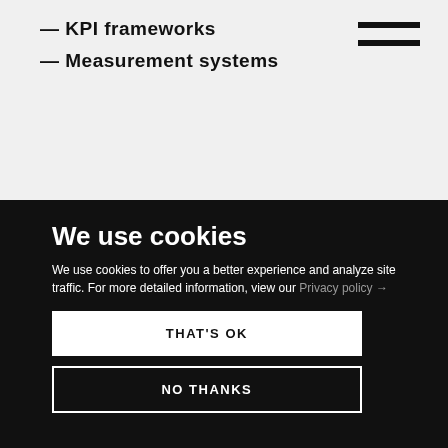— KPI frameworks
— Measurement systems
We use cookies
We use cookies to offer you a better experience and analyze site traffic. For more detailed information, view our Privacy policy →
THAT'S OK
NO THANKS